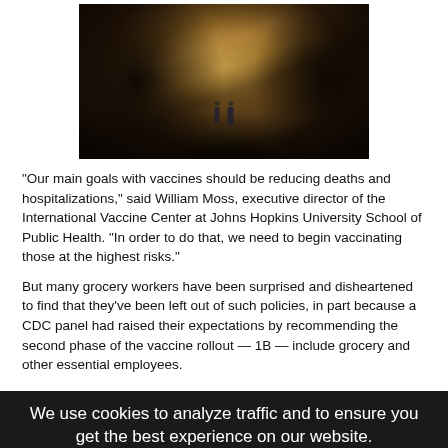[Figure (photo): Two people standing inside a cave, with rocky cave walls surrounding them and light coming from the cave opening above.]
"Our main goals with vaccines should be reducing deaths and hospitalizations," said William Moss, executive director of the International Vaccine Center at Johns Hopkins University School of Public Health. "In order to do that, we need to begin vaccinating those at the highest risks."
But many grocery workers have been surprised and disheartened to find that they've been left out of such policies, in part because a CDC panel had raised their expectations by recommending the second phase of the vaccine rollout — 1B — include grocery and other essential employees.
We use cookies to analyze traffic and to ensure you get the best experience on our website.